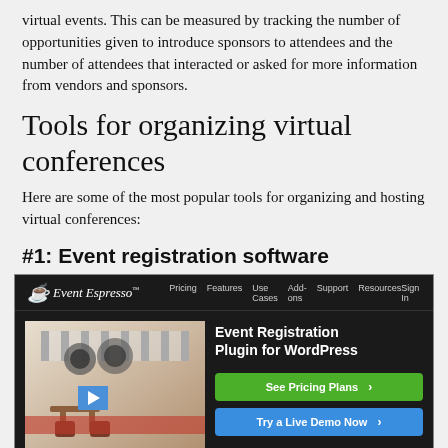virtual events. This can be measured by tracking the number of opportunities given to introduce sponsors to attendees and the number of attendees that interacted or asked for more information from vendors and sponsors.
Tools for organizing virtual conferences
Here are some of the most popular tools for organizing and hosting virtual conferences:
#1: Event registration software
[Figure (screenshot): Screenshot of Event Espresso website showing a dark-themed navigation bar with logo, menu items (Pricing, Features, Use Cases, Add-ons, Support, Resources, Sign In), a video thumbnail on the left with 'WHAT IS EVENT ESPRESSO?' title and a blue play button, and on the right: 'Event Registration Plugin for WordPress' heading with green 'See Pricing Plans >' button and blue 'Try a Live Demo Now >' button.]